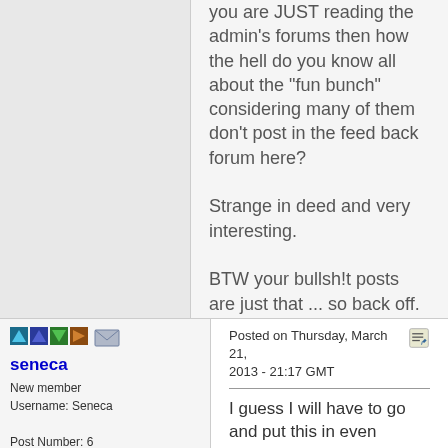you are JUST reading the admin's forums then how the hell do you know all about the "fun bunch" considering many of them don't post in the feed back forum here?

Strange in deed and very interesting.

BTW your bullsh!t posts are just that ... so back off.
Posted on Thursday, March 21, 2013 - 21:17 GMT
seneca
New member
Username: Seneca

Post Number: 6
I guess I will have to go and put this in even simpler text so you can understand it. No